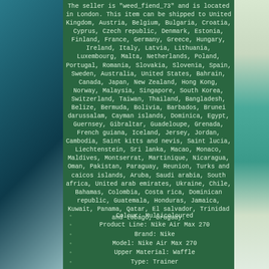The seller is "weed_fiend_73" and is located in London. This item can be shipped to United Kingdom, Austria, Belgium, Bulgaria, Croatia, Cyprus, Czech republic, Denmark, Estonia, Finland, France, Germany, Greece, Hungary, Ireland, Italy, Latvia, Lithuania, Luxembourg, Malta, Netherlands, Poland, Portugal, Romania, Slovakia, Slovenia, Spain, Sweden, Australia, United States, Bahrain, Canada, Japan, New Zealand, Hong Kong, Norway, Malaysia, Singapore, South Korea, Switzerland, Taiwan, Thailand, Bangladesh, Belize, Bermuda, Bolivia, Barbados, Brunei darussalam, Cayman islands, Dominica, Egypt, Guernsey, Gibraltar, Guadeloupe, Grenada, French guiana, Iceland, Jersey, Jordan, Cambodia, Saint kitts and nevis, Saint lucia, Liechtenstein, Sri lanka, Macao, Monaco, Maldives, Montserrat, Martinique, Nicaragua, Oman, Pakistan, Paraguay, Reunion, Turks and caicos islands, Aruba, Saudi arabia, South africa, United arab emirates, Ukraine, Chile, Bahamas, Colombia, Costa rica, Dominican republic, Guatemala, Honduras, Jamaica, Kuwait, Panama, Qatar, El salvador, Trinidad and tobago, Uruguay.
Colour: Multicoloured
Product Line: Nike Air Max 270
Brand: Nike
Model: Nike Air Max 270
Upper Material: Waffle
Type: Trainer